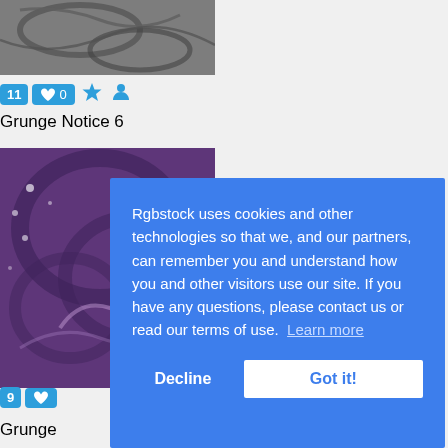[Figure (photo): Dark grunge texture image at top]
11  ♥ 0  ★  👤
Grunge Notice 6
[Figure (photo): Purple grunge swirl texture image]
9  ♥
Grunge
Rgbstock uses cookies and other technologies so that we, and our partners, can remember you and understand how you and other visitors use our site. If you have any questions, please contact us or read our terms of use.  Learn more
Decline
Got it!